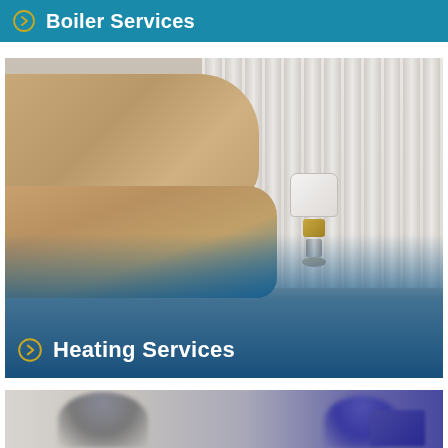Boiler Services
[Figure (photo): Person adjusting a thermostatic radiator valve on a white panel radiator, with blue gradient overlay at bottom]
Heating Services
[Figure (photo): Two people sitting together with a laptop, blurred background image partially visible]